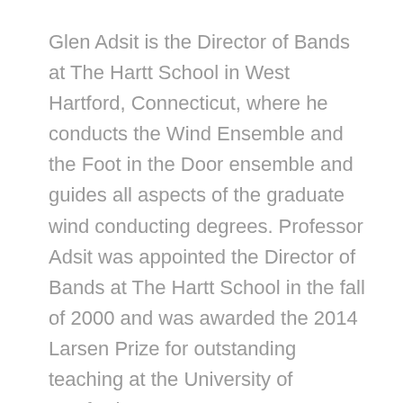Glen Adsit is the Director of Bands at The Hartt School in West Hartford, Connecticut, where he conducts the Wind Ensemble and the Foot in the Door ensemble and guides all aspects of the graduate wind conducting degrees. Professor Adsit was appointed the Director of Bands at The Hartt School in the fall of 2000 and was awarded the 2014 Larsen Prize for outstanding teaching at the University of Hartford.
Ensembles under his direction have performed at Hill Auditorium (Ann Arbor,